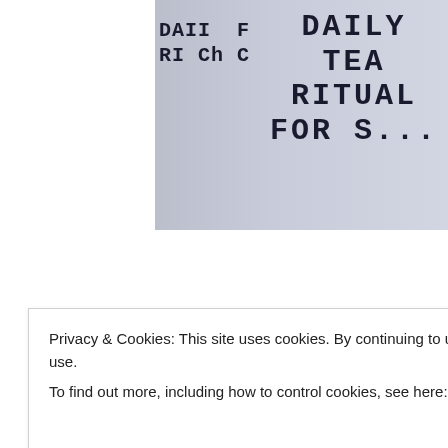[Figure (photo): Close-up photo of text on white paper/cloth reading 'DAILY TEA RITUAL FOR...' in large typewriter-style font, with partial text on left side reading 'DAIL', 'RI', 'F', 'Ch', 'C']
Advertisements
[Figure (photo): Photo of a room interior with beige/tan wall, a white light switch visible, and a wicker/rattan basket in the upper right corner]
Privacy & Cookies: This site uses cookies. By continuing to use this website, you agree to their use.
To find out more, including how to control cookies, see here: Cookie Policy
Close and accept